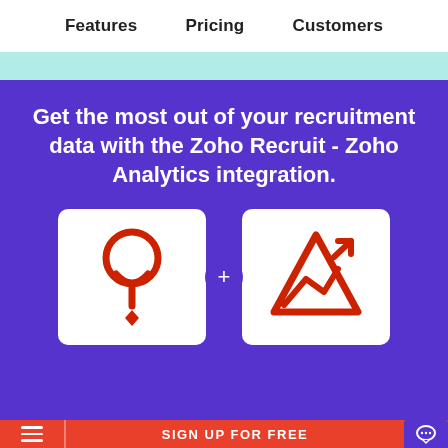Features   Pricing   Customers
Get the most out of your recruitment data with the Zoho Recruit - Zoho Analytics integration.
[Figure (logo): Zoho Recruit logo (red person/pin icon on white rounded rectangle) plus sign (white plus in purple circle) Zoho Analytics logo (red triangle mountain/chart icon on white rounded rectangle)]
SIGN UP FOR FREE